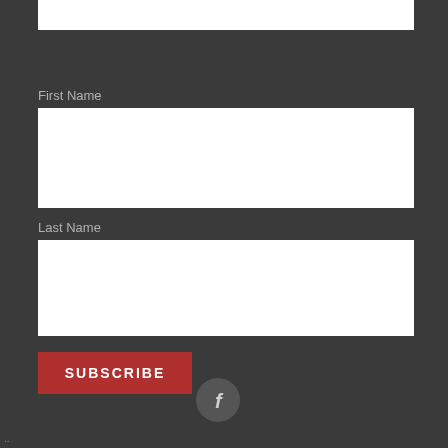[Figure (screenshot): White input field at top of form (partially visible)]
First Name
[Figure (screenshot): White input field for First Name]
Last Name
[Figure (screenshot): White input field for Last Name]
SUBSCRIBE
[Figure (illustration): Facebook icon circle button]
..